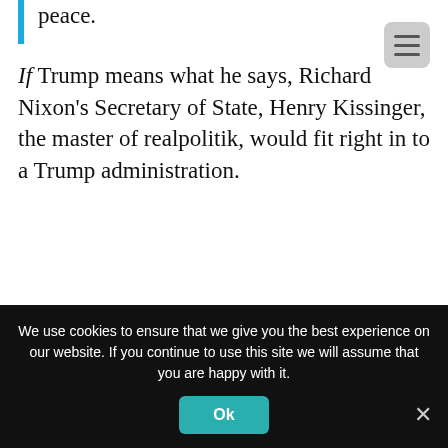peace.
If Trump means what he says, Richard Nixon's Secretary of State, Henry Kissinger, the master of realpolitik, would fit right in to a Trump administration.
He vowed to reverse China's “assault on America’s jobs and wealth” and to use America’s “economic power” over China to bring Beijing into line.
We use cookies to ensure that we give you the best experience on our website. If you continue to use this site we will assume that you are happy with it.